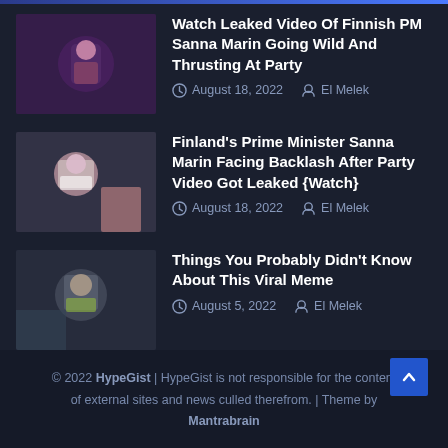Watch Leaked Video Of Finnish PM Sanna Marin Going Wild And Thrusting At Party — August 18, 2022 — El Melek
Finland's Prime Minister Sanna Marin Facing Backlash After Party Video Got Leaked {Watch} — August 18, 2022 — El Melek
Things You Probably Didn't Know About This Viral Meme — August 5, 2022 — El Melek
© 2022 HypeGist | HypeGist is not responsible for the content of external sites and news culled therefrom. | Theme by Mantrabrain